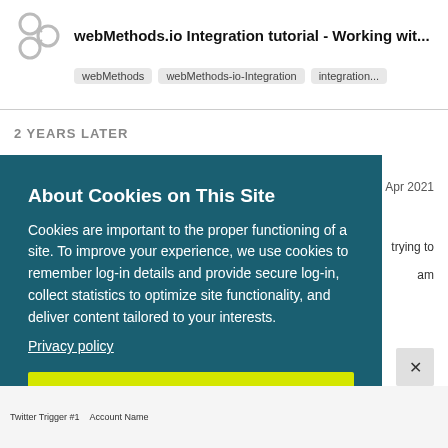webMethods.io Integration tutorial - Working wit... | webMethods | webMethods-io-Integration | integration...
2 YEARS LATER
Apr 2021
trying to
am
About Cookies on This Site
Cookies are important to the proper functioning of a site. To improve your experience, we use cookies to remember log-in details and provide secure log-in, collect statistics to optimize site functionality, and deliver content tailored to your interests.
Privacy policy
AGREE AND PROCEED